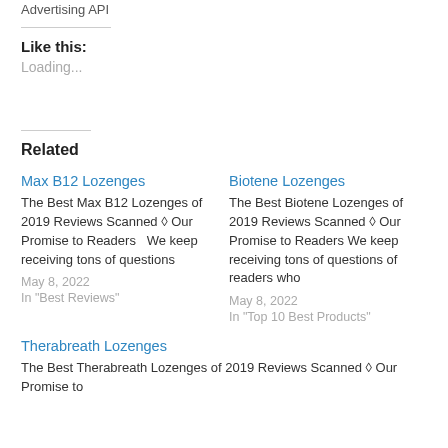Advertising API
Like this:
Loading...
Related
Max B12 Lozenges
The Best Max B12 Lozenges of 2019 Reviews Scanned ◊ Our Promise to Readers   We keep receiving tons of questions
May 8, 2022
In "Best Reviews"
Biotene Lozenges
The Best Biotene Lozenges of 2019 Reviews Scanned ◊ Our Promise to Readers We keep receiving tons of questions of readers who
May 8, 2022
In "Top 10 Best Products"
Therabreath Lozenges
The Best Therabreath Lozenges of 2019 Reviews Scanned ◊ Our Promise to